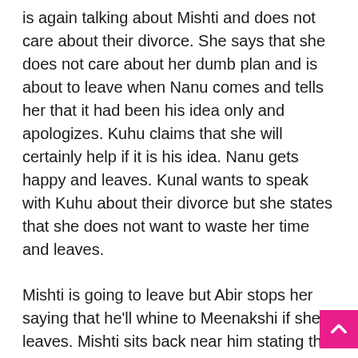is again talking about Mishti and does not care about their divorce. She says that she does not care about her dumb plan and is about to leave when Nanu comes and tells her that it had been his idea only and apologizes. Kuhu claims that she will certainly help if it is his idea. Nanu gets happy and leaves. Kunal wants to speak with Kuhu about their divorce but she states that she does not want to waste her time and leaves.
Mishti is going to leave but Abir stops her saying that he'll whine to Meenakshi if she leaves. Mishti sits back near him stating that if Meenakshi is reckless, she's angry chorni the original also. Abir corrects her saying that she's his mad chorni the original. They hug smiling.
Meenakshi recalls Abir yelling at Lakshman and then Nidhi's words. She believes she can not give up and let her son go far from her.